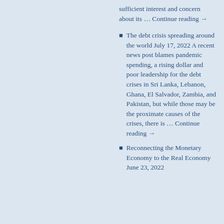sufficient interest and concern about its … Continue reading →
The debt crisis spreading around the world July 17, 2022 A recent news post blames pandemic spending, a rising dollar and poor leadership for the debt crises in Sri Lanka, Lebanon, Ghana, El Salvador, Zambia, and Pakistan, but while those may be the proximate causes of the crises, there is … Continue reading →
Reconnecting the Monetary Economy to the Real Economy June 23, 2022